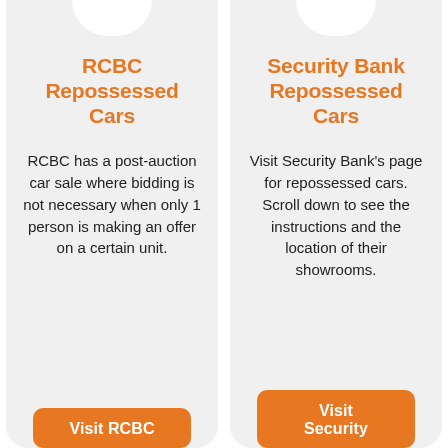RCBC Repossessed Cars
RCBC has a post-auction car sale where bidding is not necessary when only 1 person is making an offer on a certain unit.
Visit RCBC
Security Bank Repossessed Cars
Visit Security Bank's page for repossessed cars. Scroll down to see the instructions and the location of their showrooms.
Visit Security